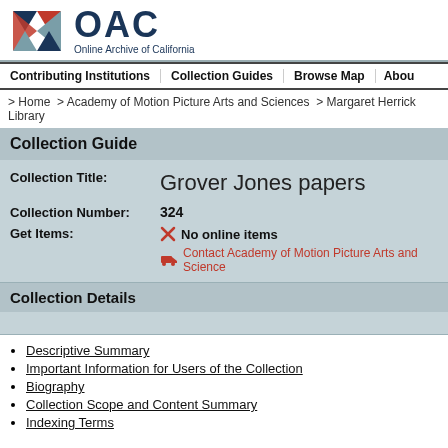OAC Online Archive of California
Contributing Institutions | Collection Guides | Browse Map | About
> Home > Academy of Motion Picture Arts and Sciences > Margaret Herrick Library
Collection Guide
| Field | Value |
| --- | --- |
| Collection Title: | Grover Jones papers |
| Collection Number: | 324 |
| Get Items: | No online items
Contact Academy of Motion Picture Arts and Sciences |
Collection Details
Descriptive Summary
Important Information for Users of the Collection
Biography
Collection Scope and Content Summary
Indexing Terms